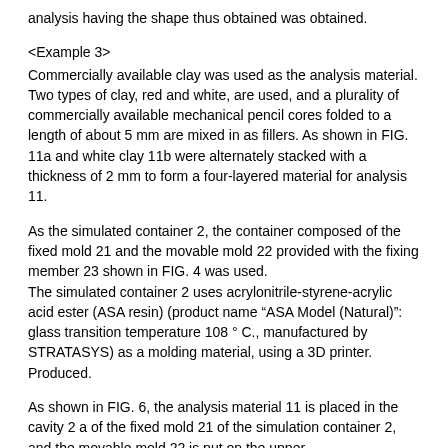analysis having the shape thus obtained was obtained.
<Example 3>
Commercially available clay was used as the analysis material.
Two types of clay, red and white, are used, and a plurality of commercially available mechanical pencil cores folded to a length of about 5 mm are mixed in as fillers. As shown in FIG. 11a and white clay 11b were alternately stacked with a thickness of 2 mm to form a four-layered material for analysis 11.
As the simulated container 2, the container composed of the fixed mold 21 and the movable mold 22 provided with the fixing member 23 shown in FIG. 4 was used.
The simulated container 2 uses acrylonitrile-styrene-acrylic acid ester (ASA resin) (product name “ASA Model (Natural)”: glass transition temperature 108 ° C., manufactured by STRATASYS) as a molding material, using a 3D printer. Produced.
As shown in FIG. 6, the analysis material 11 is placed in the cavity 2 a of the fixed mold 21 of the simulation container 2, and the movable mold 22 is put on the upper